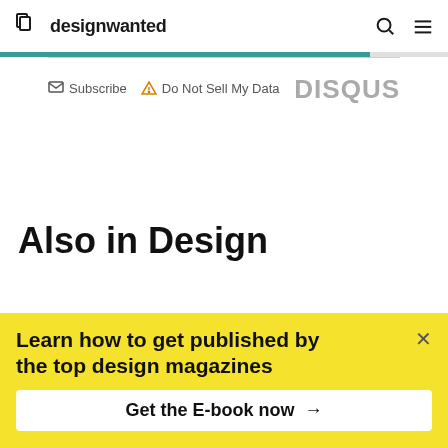designwanted
Subscribe  Do Not Sell My Data  DISQUS
Also in Design
Nagami is redefining the concept of
Learn how to get published by the top design magazines
Get the E-book now →